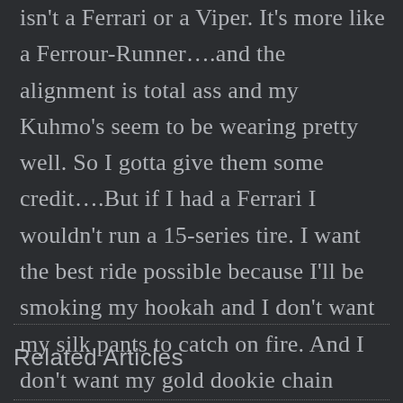isn't a Ferrari or a Viper. It's more like a Ferrour-Runner….and the alignment is total ass and my Kuhmo's seem to be wearing pretty well. So I gotta give them some credit….But if I had a Ferrari I wouldn't run a 15-series tire. I want the best ride possible because I'll be smoking my hookah and I don't want my silk pants to catch on fire. And I don't want my gold dookie chain irritating my neck from all the vibration either….
Related Articles